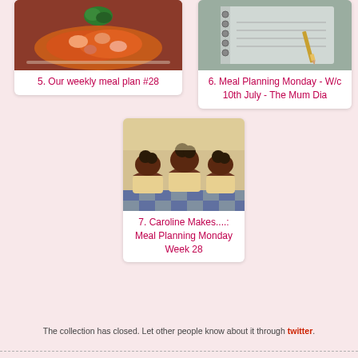[Figure (photo): Photo of a pasta/rice dish with seafood and vegetables topped with green herb garnish - card 5]
5. Our weekly meal plan #28
[Figure (photo): Photo of a spiral notebook with a pencil on it - card 6]
6. Meal Planning Monday - W/c 10th July - The Mum Dia
[Figure (photo): Photo of chocolate cupcakes with dark chocolate frosting and Oreo cookie toppings on a checkered cloth - card 7]
7. Caroline Makes....: Meal Planning Monday Week 28
The collection has closed. Let other people know about it through twitter.